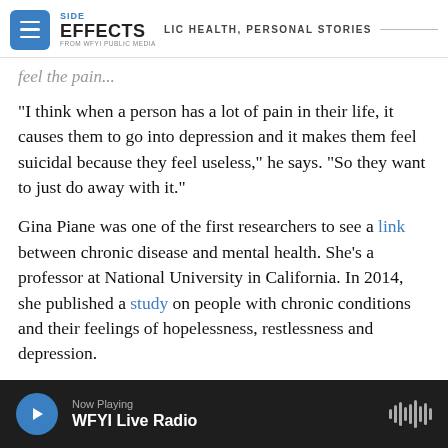SIDE EFFECTS — PUBLIC HEALTH, PERSONAL STORIES — FROM WFYI PUBLIC MEDIA
feel the pain...
“I think when a person has a lot of pain in their life, it causes them to go into depression and it makes them feel suicidal because they feel useless,” he says. “So they want to just do away with it.”
Gina Piane was one of the first researchers to see a link between chronic disease and mental health. She’s a professor at National University in California. In 2014, she published a study on people with chronic conditions and their feelings of hopelessness, restlessness and depression.
Now Playing — WFYI Live Radio